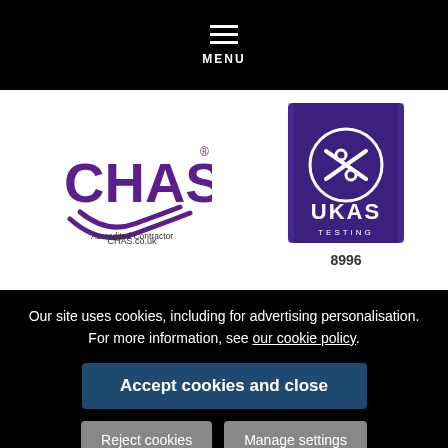[Figure (logo): Black top navigation bar with hamburger menu icon and MENU text]
[Figure (logo): CHAS Accredited Contractor logo in purple with swoosh graphic and text: Accredited Contractor CHAS.co.uk]
[Figure (logo): UKAS Testing logo in purple box with certification number 8996]
Our site uses cookies, including for advertising personalisation. For more information, see our cookie policy.
Accept cookies and close
Reject cookies
Manage settings
Hixtra Ltd is a company registered in England and